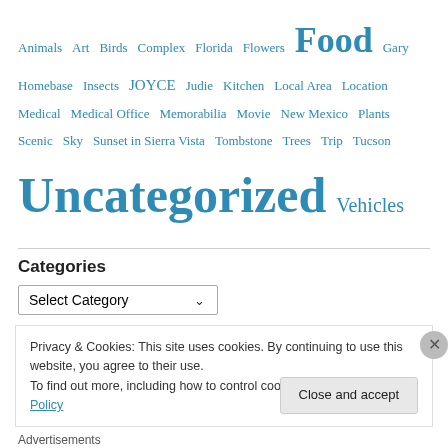Animals  Art  Birds  Complex  Florida  Flowers  Food  Gary  Homebase  Insects  JOYCE  Judie  Kitchen  Local Area  Location  Medical  Medical Office  Memorabilia  Movie  New Mexico  Plants  Scenic  Sky  Sunset in Sierra Vista  Tombstone  Trees  Trip  Tucson  Uncategorized  Vehicles
Categories
Select Category
Privacy & Cookies: This site uses cookies. By continuing to use this website, you agree to their use.
To find out more, including how to control cookies, see here: Cookie Policy
Close and accept
Advertisements